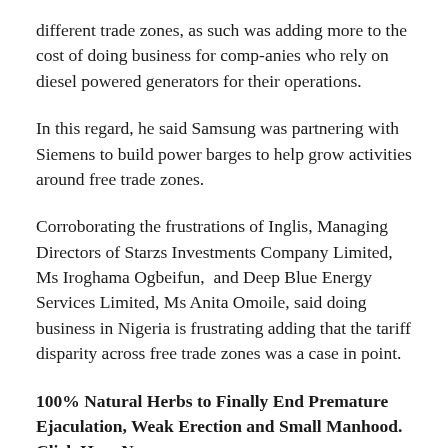different trade zones, as such was adding more to the cost of doing business for comp-anies who rely on diesel powered generators for their operations.
In this regard, he said Samsung was partnering with Siemens to build power barges to help grow activities around free trade zones.
Corroborating the frustrations of Inglis, Managing Directors of Starzs Investments Company Limited, Ms Iroghama Ogbeifun,  and Deep Blue Energy Services Limited, Ms Anita Omoile, said doing business in Nigeria is frustrating adding that the tariff disparity across free trade zones was a case in point.
100% Natural Herbs to Finally End Premature Ejaculation, Weak Erection and Small Manhood. Click Here Now .